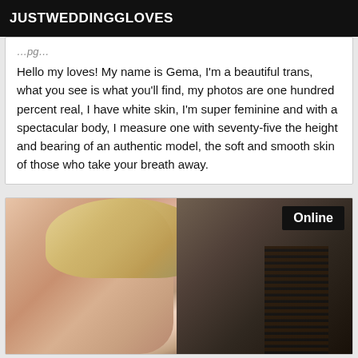JUSTWEDDINGGLOVES
Hello my loves! My name is Gema, I'm a beautiful trans, what you see is what you'll find, my photos are one hundred percent real, I have white skin, I'm super feminine and with a spectacular body, I measure one with seventy-five the height and bearing of an authentic model, the soft and smooth skin of those who take your breath away.
[Figure (photo): Close-up photo of a blonde person wearing black lace clothing, with an 'Online' badge overlay in the top right corner]